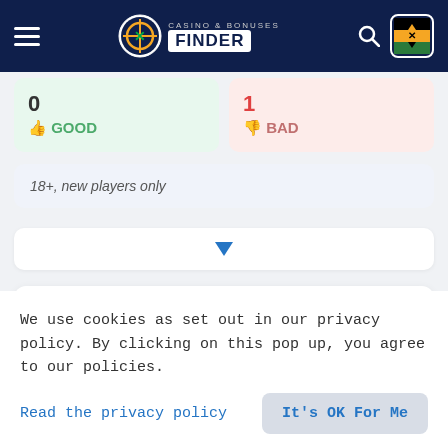Casino & Bonuses Finder
0 GOOD
1 BAD
18+, new players only
[Figure (other): Dropdown arrow indicator]
Cashable
YOJU Rating: 6.23/10
We use cookies as set out in our privacy policy. By clicking on this pop up, you agree to our policies.
Read the privacy policy
It's OK For Me